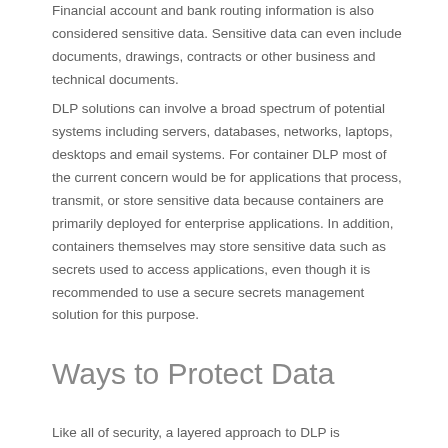Financial account and bank routing information is also considered sensitive data. Sensitive data can even include documents, drawings, contracts or other business and technical documents.
DLP solutions can involve a broad spectrum of potential systems including servers, databases, networks, laptops, desktops and email systems. For container DLP most of the current concern would be for applications that process, transmit, or store sensitive data because containers are primarily deployed for enterprise applications. In addition, containers themselves may store sensitive data such as secrets used to access applications, even though it is recommended to use a secure secrets management solution for this purpose.
Ways to Protect Data
Like all of security, a layered approach to DLP is